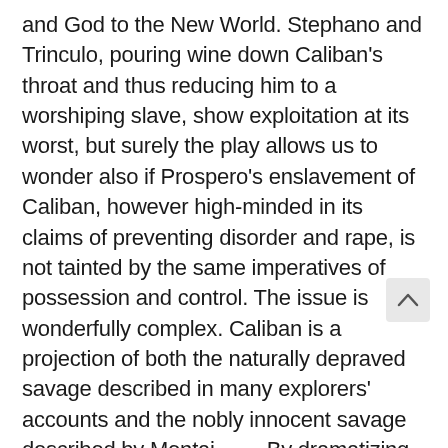and God to the New World. Stephano and Trinculo, pouring wine down Caliban's throat and thus reducing him to a worshiping slave, show exploitation at its worst, but surely the play allows us to wonder also if Prospero's enslavement of Caliban, however high-minded in its claims of preventing disorder and rape, is not tainted by the same imperatives of possession and control. The issue is wonderfully complex. Caliban is a projection of both the naturally depraved savage described in many explorers' accounts and the nobly innocent savage described by Montai By dramatizing the conflict without taking s Shakespeare leaves open a debate about the worth of Prospero's endeavor to contain Caliban's otherness and produces an ambivalent result in which the apparent victory of colonialism and censorship does not entirely conceal the